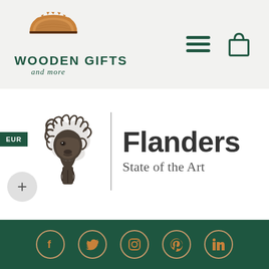[Figure (logo): Wooden Gifts and more - logo with saw blade icon and text]
[Figure (logo): Flanders State of the Art logo with lion head illustration and divider line]
[Figure (infographic): Website footer with five social media icons (Facebook, Twitter, Instagram, Pinterest, LinkedIn) on dark green background]